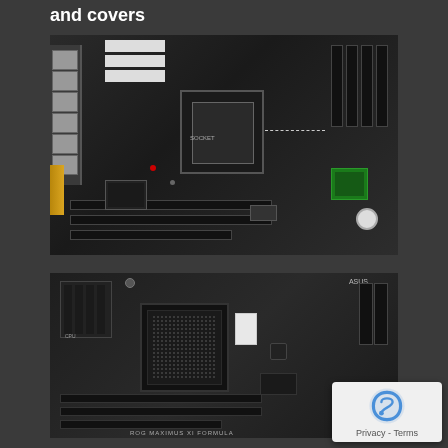and covers
[Figure (photo): Top-down view of an ASUS motherboard PCB showing components including CPU socket, RAM slots, PCIe slots, power connectors, and I/O ports]
[Figure (photo): Bottom/reverse side of an ASUS ROG Maximus or Formula series motherboard showing PCB traces, CPU socket area, expansion slots, and ASUS branding text at bottom]